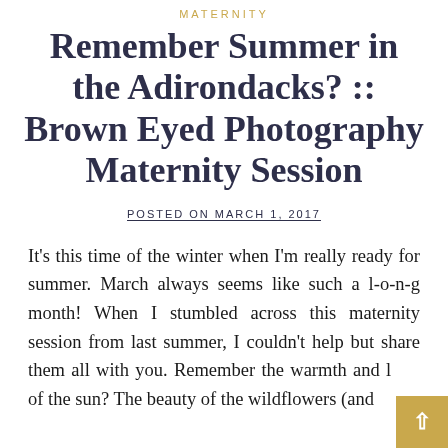MATERNITY
Remember Summer in the Adirondacks? :: Brown Eyed Photography Maternity Session
POSTED ON MARCH 1, 2017
It's this time of the winter when I'm really ready for summer. March always seems like such a l-o-n-g month! When I stumbled across this maternity session from last summer, I couldn't help but share them all with you. Remember the warmth and light of the sun? The beauty of the wildflowers (and